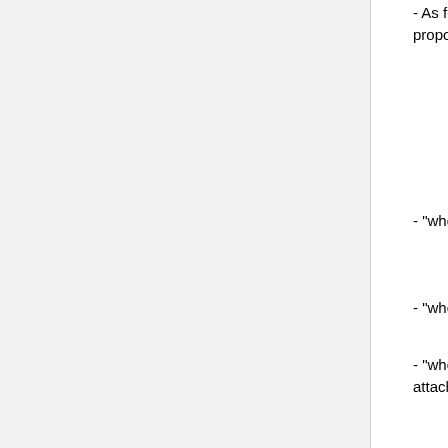- As for the context (condition) for augmentation, a clear specification of "5W" approach is proposed: namely who, when, where, what and how.
- "who" part specifies the owner/author of the contents.
- "when" part specifies content creation time.
- "where" part specifies the location of the physical object to which an augmentation is attached.
- "what" part specifies the what is to be augmented content (augmentation information).
- "how" part specifies dynamic part (behavior) of the content.
X3D Earth Working Group
The X3D Earth Working Group has expanded and refined a proposal by Dr. Myeong Won Lee for a new GpsSensor node. Due to several